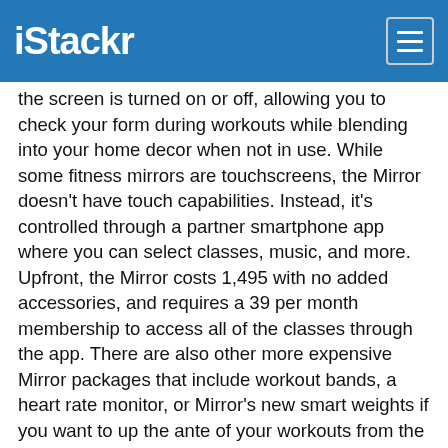iStackr
the screen is turned on or off, allowing you to check your form during workouts while blending into your home decor when not in use. While some fitness mirrors are touchscreens, the Mirror doesn't have touch capabilities. Instead, it's controlled through a partner smartphone app where you can select classes, music, and more. Upfront, the Mirror costs 1,495 with no added accessories, and requires a 39 per month membership to access all of the classes through the app. There are also other more expensive Mirror packages that include workout bands, a heart rate monitor, or Mirror's new smart weights if you want to up the ante of your workouts from the get-go.
When Mirror is on, it's a smart home gym screen. When it's off, it blends right into your home decor.
Credit: Jae Thomas Mashable